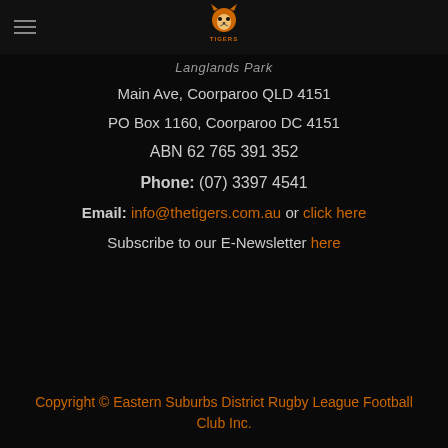[Figure (logo): Tigers rugby league club logo with tiger face and TIGERS text beneath]
Langlands Park
Main Ave, Coorparoo QLD 4151
PO Box 1160, Coorparoo DC 4151
ABN 62 765 391 352
Phone: (07) 3397 4541
Email: info@thetigers.com.au or click here
Subscribe to our E-Newsletter here
Copyright © Eastern Suburbs District Rugby League Football Club Inc.